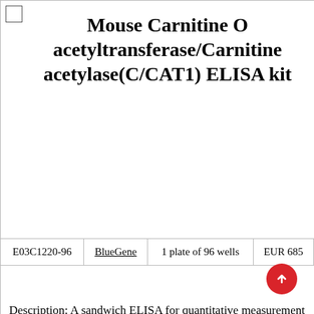Mouse Carnitine O acetyltransferase/Carnitine acetylase(C/CAT1) ELISA kit
| E03C1220-96 | BlueGene | 1 plate of 96 wells | EUR 685 |
Description: A sandwich ELISA for quantitative measurement of Mouse Carnitine O acetyltransferase/Carnitine acetylase(C/CAT1) in samples from blood, plasma, serum, cell culture supernatant and other biological fluids. This is a high quality ELISA kit developped for optimal performance